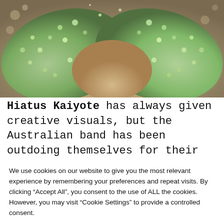[Figure (photo): Photo of a person in ornate costume with green/teal sequined wings or garment spread out on a table, with bokeh background lights visible in a room setting.]
Hiatus Kaiyote has always given creative visuals, but the Australian band has been outdoing themselves for their latest
We use cookies on our website to give you the most relevant experience by remembering your preferences and repeat visits. By clicking "Accept All", you consent to the use of ALL the cookies. However, you may visit "Cookie Settings" to provide a controlled consent.
Cookie Settings | Accept All